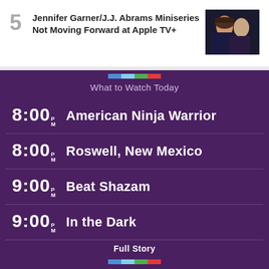5 Jennifer Garner/J.J. Abrams Miniseries Not Moving Forward at Apple TV+
[Figure (photo): Photo of Jennifer Garner and J.J. Abrams at an event]
What to Watch Today
8:00 PM  American Ninja Warrior
8:00 PM  Roswell, New Mexico
9:00 PM  Beat Shazam
9:00 PM  In the Dark
Full Story